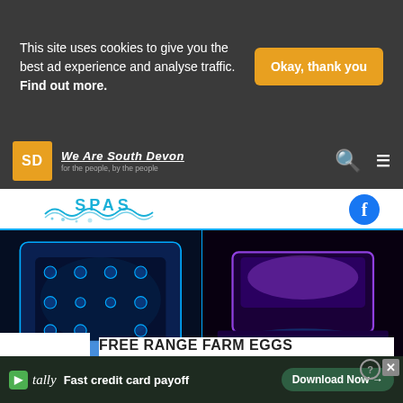This site uses cookies to give you the best ad experience and analyse traffic. Find out more.
Okay, thank you
[Figure (logo): We Are South Devon logo with SD monogram in orange square and site name]
[Figure (photo): Spas advertisement with two hot tub photos lit in blue and purple lighting, with water/spas branding and Facebook icon]
[Figure (photo): Free Range Farm Eggs advertisement with cartoon chick illustration]
FREE RANGE FARM EGGS
Delivered free to your home
[Figure (screenshot): Tally app advertisement - Fast credit card payoff - Download Now button]